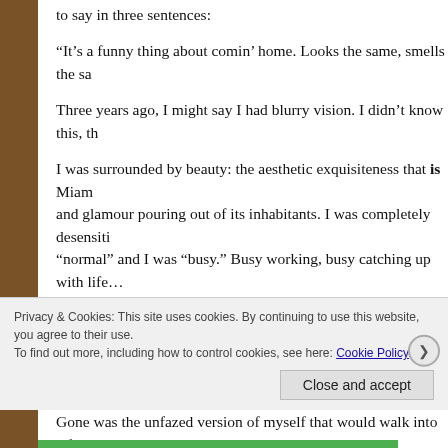to say in three sentences:
“It’s a funny thing about comin’ home. Looks the same, smells the sa…
Three years ago, I might say I had blurry vision. I didn’t know this, th…
I was surrounded by beauty: the aesthetic exquisiteness that is Miam… and glamour pouring out of its inhabitants. I was completely desensiti… “normal” and I was “busy.” Busy working, busy catching up with life…
Then I came home for a short while after being on the road for six mo… soul more good stuff than any human could ever imaging needing. Y…
Gone was the unfazed version of myself that would walk into a fancy… amazement, even though it was exactly how I’d left it. I appreciated t… lived in apartments with uber luxurious lobbies and stood there, mou… din in a cold pool on a hot day, overlooking the bay as the sun smile…
Privacy & Cookies: This site uses cookies. By continuing to use this website, you agree to their use.
To find out more, including how to control cookies, see here: Cookie Policy
Close and accept